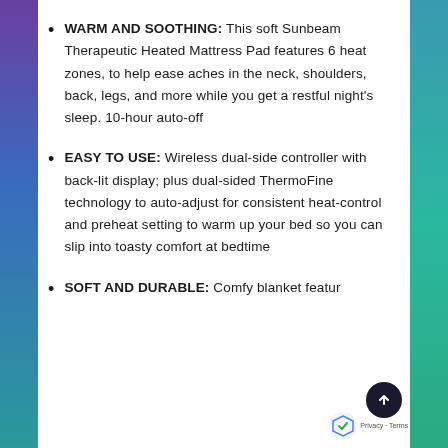WARM AND SOOTHING: This soft Sunbeam Therapeutic Heated Mattress Pad features 6 heat zones, to help ease aches in the neck, shoulders, back, legs, and more while you get a restful night's sleep. 10-hour auto-off
EASY TO USE: Wireless dual-side controller with back-lit display; plus dual-sided ThermoFine technology to auto-adjust for consistent heat-control and preheat setting to warm up your bed so you can slip into toasty comfort at bedtime
SOFT AND DURABLE: Comfy blanket featur...